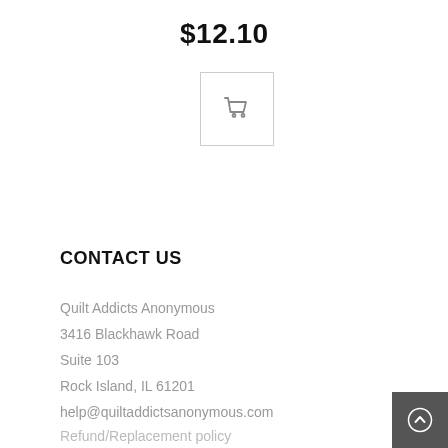$12.10
[Figure (illustration): Shopping cart icon button with border]
CONTACT US
Quilt Addicts Anonymous
3416 Blackhawk Road
Suite 103
Rock Island, IL 61201
help@quiltaddictsanonymous.com
Refund/Replacement policy
[Figure (illustration): Back to top button, dark gray circle with up chevron]